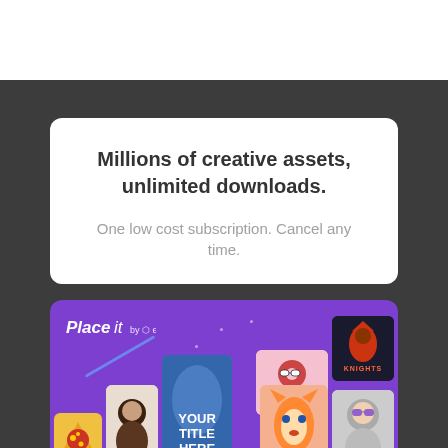Millions of creative assets, unlimited downloads.
One low cost subscription. Cancel any time.
[Figure (screenshot): Placeit by Envato promotional banner showing a purple card with logo and various creative asset mockups including a pizza graphic, person portrait, 'YOUR TITLE HERE' template card, Delicious Donuts logo, Knights logo, fox illustration, and person in sunglasses upload mockup.]